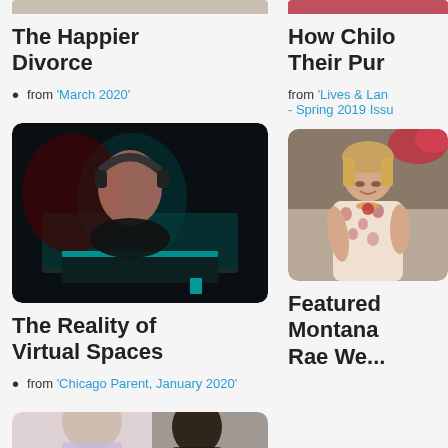[Figure (photo): Top of image cropped - partial view of people (left column)]
[Figure (photo): Top of image cropped - partial view (right column)]
The Happier Divorce
from 'March 2020'
How Chilo Their Pur
from 'Lives & Lan - Spring 2019 Issu
[Figure (photo): Person wearing headphones in dark room illuminated by blue/red monitor light]
[Figure (photo): Woman in floral top looking down, right column]
The Reality of Virtual Spaces
Featured Montana Rae We...
from 'Chicago Parent, January 2020'
[Figure (photo): Bottom image - two people, partial view]